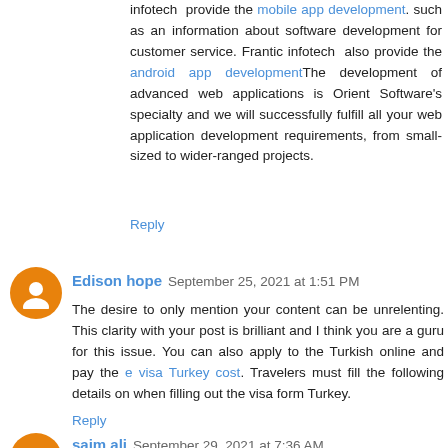infotech  provide the mobile app development. such as an information about software development for customer service. Frantic infotech also provide the android app developmentThe development of advanced web applications is Orient Software's specialty and we will successfully fulfill all your web application development requirements, from small-sized to wider-ranged projects.
Reply
Edison hope  September 25, 2021 at 1:51 PM
The desire to only mention your content can be unrelenting. This clarity with your post is brilliant and I think you are a guru for this issue. You can also apply to the Turkish online and pay the e visa Turkey cost. Travelers must fill the following details on when filling out the visa form Turkey.
Reply
saim ali  September 29, 2021 at 7:36 AM